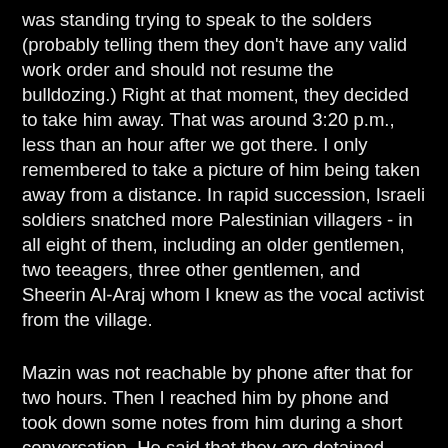was standing trying to speak to the solders (probably telling them they don't have any valid work order and should not resume the bulldozing.) Right at that moment, they decided to take him away. That was around 3:20 p.m., less than an hour after we got there. I only remembered to take a picture of him being taken away from a distance. In rapid succession, Israeli soldiers snatched more Palestinian villagers - in all eight of them, including an older gentlemen, two teeagers, three other gentlemen, and Sheerin Al-Araj whom I knew as the vocal activist from the village.
Mazin was not reachable by phone after that for two hours. Then I reached him by phone and took down some notes from him during a short conversation. He said that they are detained outside Bethlehem Checkpoint 300 at the time. An Israeli soldier named Almog Kahalani was very rough with them. He beat the two young Palestinian men, causing one with stomach problem. The soldiers were very rough with Sheerin that I can hear in the background while talking with Mazin on the phone. Three of them had metal handcuffs, he and the rest were tied with plastic handcuffs